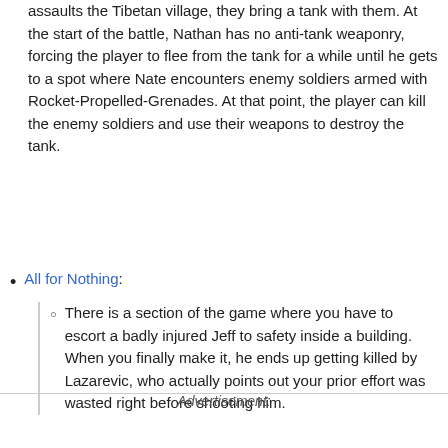assaults the Tibetan village, they bring a tank with them. At the start of the battle, Nathan has no anti-tank weaponry, forcing the player to flee from the tank for a while until he gets to a spot where Nate encounters enemy soldiers armed with Rocket-Propelled-Grenades. At that point, the player can kill the enemy soldiers and use their weapons to destroy the tank.
All for Nothing:
There is a section of the game where you have to escort a badly injured Jeff to safety inside a building. When you finally make it, he ends up getting killed by Lazarevic, who actually points out your prior effort was wasted right before shooting him.
Advertisement: